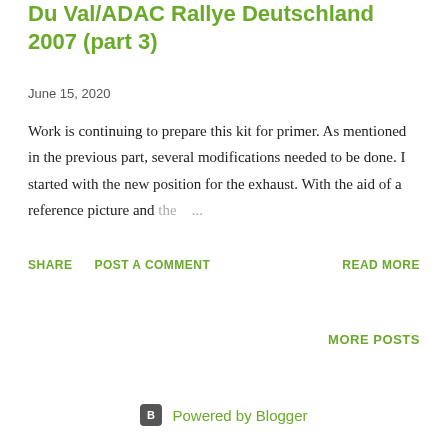Du Val/ADAC Rallye Deutschland 2007 (part 3)
June 15, 2020
Work is continuing to prepare this kit for primer. As mentioned in the previous part, several modifications needed to be done. I started with the new position for the exhaust. With the aid of a reference picture and the ...
SHARE  POST A COMMENT  READ MORE
MORE POSTS
Powered by Blogger